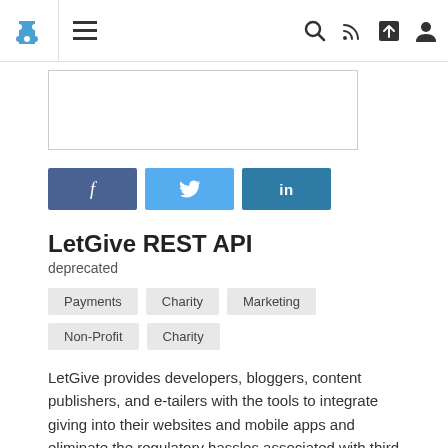Navigation bar with puzzle logo, menu icon, search, RSS, share, and user icons
[Figure (other): Advertisement or image placeholder box with border]
[Figure (other): Social share buttons: Facebook (f), Twitter (bird icon), LinkedIn (in)]
LetGive REST API
deprecated
Payments  Charity  Marketing  Non-Profit  Charity
LetGive provides developers, bloggers, content publishers, and e-tailers with the tools to integrate giving into their websites and mobile apps and eliminate the regulatory hassles associated with third party fundraising. LetGive’s API allows users to